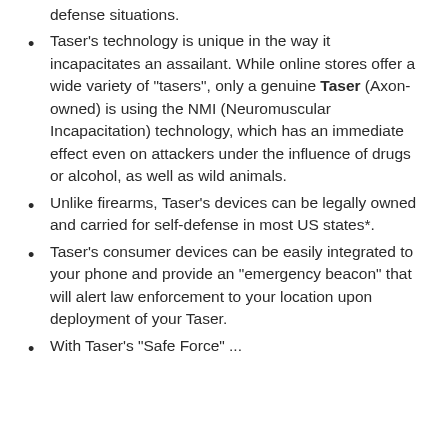defense situations.
Taser's technology is unique in the way it incapacitates an assailant. While online stores offer a wide variety of "tasers", only a genuine Taser (Axon-owned) is using the NMI (Neuromuscular Incapacitation) technology, which has an immediate effect even on attackers under the influence of drugs or alcohol, as well as wild animals.
Unlike firearms, Taser's devices can be legally owned and carried for self-defense in most US states*.
Taser's consumer devices can be easily integrated to your phone and provide an "emergency beacon" that will alert law enforcement to your location upon deployment of your Taser.
With Taser's "Safe Force" ...